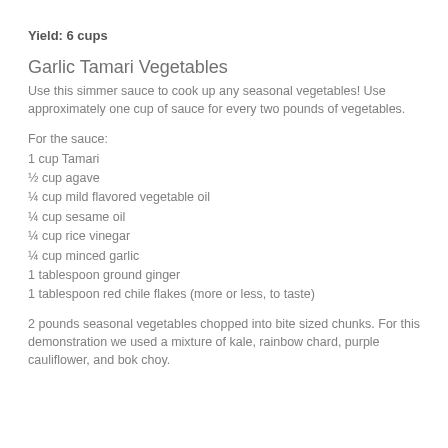Yield: 6 cups
Garlic Tamari Vegetables
Use this simmer sauce to cook up any seasonal vegetables! Use approximately one cup of sauce for every two pounds of vegetables.
For the sauce:
1 cup Tamari
½ cup agave
¼ cup mild flavored vegetable oil
¼ cup sesame oil
¼ cup rice vinegar
¼ cup minced garlic
1 tablespoon ground ginger
1 tablespoon red chile flakes (more or less, to taste)
2 pounds seasonal vegetables chopped into bite sized chunks. For this demonstration we used a mixture of kale, rainbow chard, purple cauliflower, and bok choy.